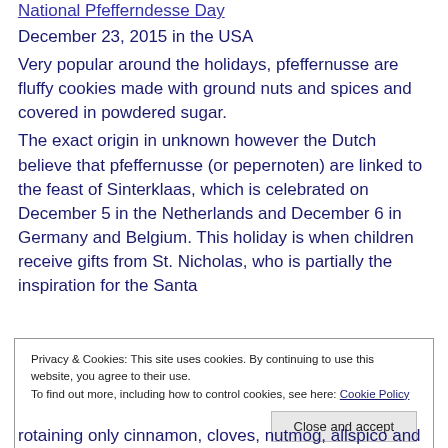National Pfefferndesse Day
December 23, 2015 in the USA
Very popular around the holidays, pfeffernusse are fluffy cookies made with ground nuts and spices and covered in powdered sugar.
The exact origin in unknown however the Dutch believe that pfeffernusse (or pepernoten) are linked to the feast of Sinterklaas, which is celebrated on December 5 in the Netherlands and December 6 in Germany and Belgium. This holiday is when children receive gifts from St. Nicholas, who is partially the inspiration for the Santa
Privacy & Cookies: This site uses cookies. By continuing to use this website, you agree to their use.
To find out more, including how to control cookies, see here: Cookie Policy
rotaining only cinnamon, cloves, nutmog, allspico and